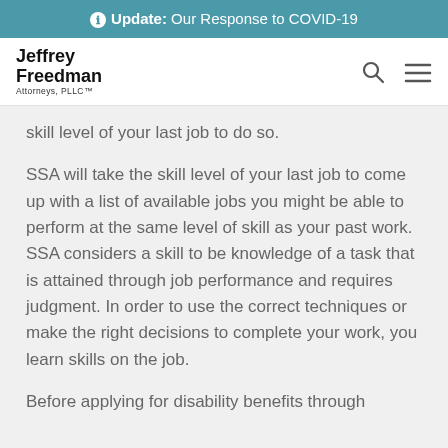ℹ Update: Our Response to COVID-19
[Figure (logo): Jeffrey Freedman Attorneys PLLC logo with search and menu icons]
skill level of your last job to do so.
SSA will take the skill level of your last job to come up with a list of available jobs you might be able to perform at the same level of skill as your past work. SSA considers a skill to be knowledge of a task that is attained through job performance and requires judgment. In order to use the correct techniques or make the right decisions to complete your work, you learn skills on the job.
Before applying for disability benefits through